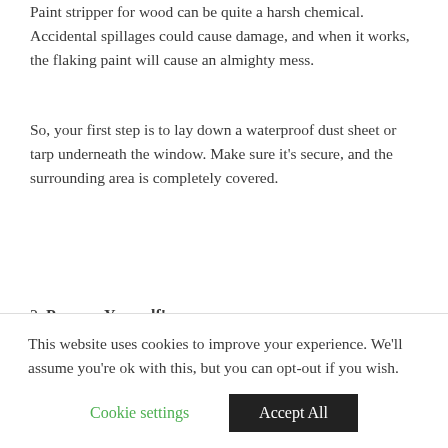Paint stripper for wood can be quite a harsh chemical. Accidental spillages could cause damage, and when it works, the flaking paint will cause an almighty mess.
So, your first step is to lay down a waterproof dust sheet or tarp underneath the window. Make sure it’s secure, and the surrounding area is completely covered.
2. Prepare Yourself!
Then suit yourself up. Grab some heavy duty waterproof gloves (rubber or work ones) to keep the chemical stripper away from your skin. A pair of goggles will protect your eyes, and a respirator will help keep
This website uses cookies to improve your experience. We’ll assume you’re ok with this, but you can opt-out if you wish.
Cookie settings    Accept All